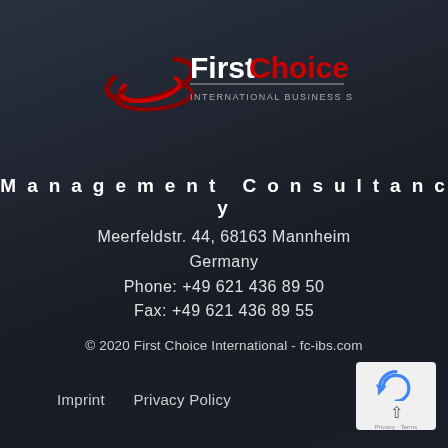[Figure (logo): First Choice International Business Services logo with red swirl graphic on left and white/red text on right, underline beneath text, subtitle 'INTERNATIONAL BUSINESS SERVICES']
Management Consultancy
Meerfeldstr. 44, 68163 Mannheim
Germany
Phone: +49 621 436 89 50
Fax: +49 621 436 89 55
© 2020 First Choice International - fc-ibs.com
Imprint   Privacy Policy